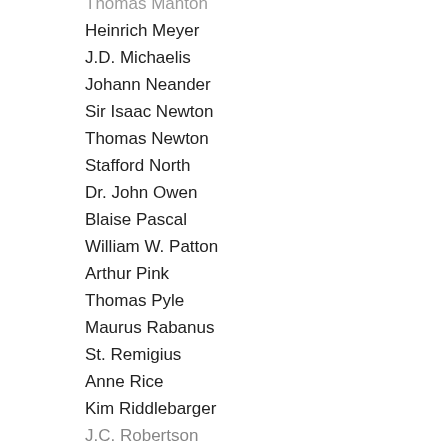Thomas Manton
Heinrich Meyer
J.D. Michaelis
Johann Neander
Sir Isaac Newton
Thomas Newton
Stafford North
Dr. John Owen
Blaise Pascal
William W. Patton
Arthur Pink
Thomas Pyle
Maurus Rabanus
St. Remigius
Anne Rice
Kim Riddlebarger
J.C. Robertson